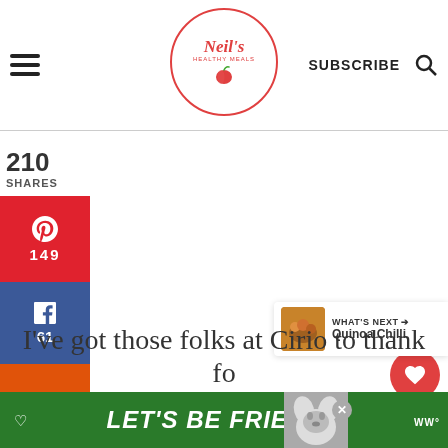[Figure (logo): Neil's Healthy Meals logo in a red circle with apple icon, center of header]
SUBSCRIBE
210
SHARES
[Figure (infographic): Pinterest share button with count 149]
[Figure (infographic): Facebook share button with count 61]
[Figure (infographic): Yummly share button]
[Figure (infographic): Twitter share button]
[Figure (infographic): Heart/like button (red circle) with count 253 and share icon]
[Figure (infographic): WHAT'S NEXT arrow with Quinoa Chilli thumbnail]
I've got those folks at Cirio to thank fo
[Figure (infographic): Green ad banner: LET'S BE FRIENDS with dog image and close button]